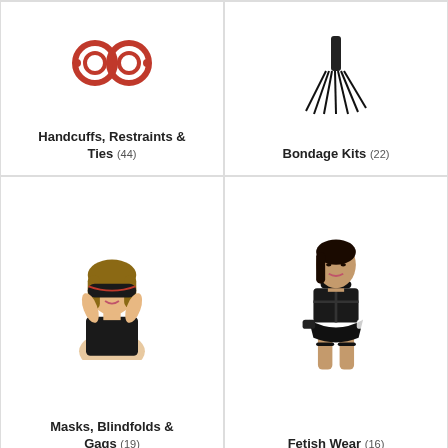[Figure (photo): Red handcuffs product photo]
Handcuffs, Restraints & Ties (44)
[Figure (photo): Black flogger/whip product photo]
Bondage Kits (22)
[Figure (photo): Woman wearing a red-trimmed black blindfold]
Masks, Blindfolds & Gags (19)
[Figure (photo): Woman wearing black fetish wear with restraints]
Fetish Wear (16)
Try Our Vibrator Wizard
Answer a few questions & find